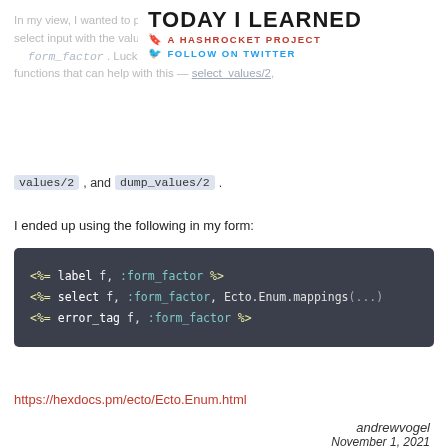TODAY I LEARNED
A HASHROCKET PROJECT
FOLLOW ON TWITTER
In my view, I wanted to populate a select input with the values from my enum column form_factor. Luckily, they were able to include the many functions that can help with this — select_values/2, values/2, and dump_values/2.
I ended up using the following in my form:
[Figure (screenshot): Dark code block showing EEx template code: <%= label f, :form_factor %>
<%= select f, :form_factor, Ecto.Enum.mappings(
<%= error_tag f, :form_factor %>]
https://hexdocs.pm/ecto/Ecto.Enum.html
andrewvogel
November 1, 2021
#ELIXIR   PERMALINK   RAW   6